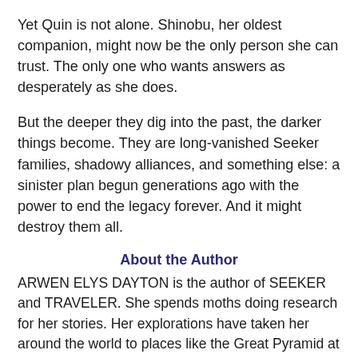Yet Quin is not alone. Shinobu, her oldest companion, might now be the only person she can trust. The only one who wants answers as desperately as she does.
But the deeper they dig into the past, the darker things become. They are long-vanished Seeker families, shadowy alliances, and something else: a sinister plan begun generations ago with the power to end the legacy forever. And it might destroy them all.
About the Author
ARWEN ELYS DAYTON is the author of SEEKER and TRAVELER. She spends moths doing research for her stories. Her explorations have taken her around the world to places like the Great Pyramid at Giza, Hong Kong and its many islands, and lots of ruined castles in Scotland. You can follow her on Instagram and Twitter @arwenelysdayton, and check out her video series about writing, 1 QUESTION, 2 MINUTES, at arwendayton.com and on YouTube.